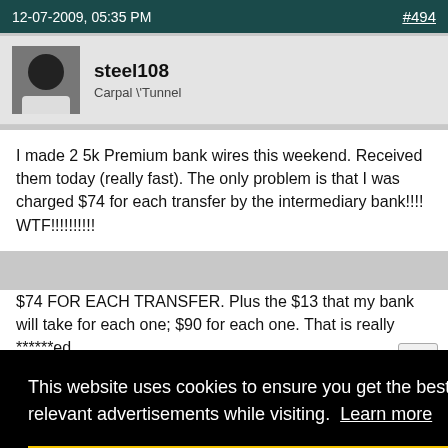12-07-2009, 05:35 PM   #494
steel108
Carpal \'Tunnel
I made 2 5k Premium bank wires this weekend. Received them today (really fast). The only problem is that I was charged $74 for each transfer by the intermediary bank!!!! WTF!!!!!!!!!!
$74 FOR EACH TRANSFER. Plus the $13 that my bank will take for each one; $90 for each one. That is really ******ed.
This website uses cookies to ensure you get the best experience and relevant advertisements while visiting.  Learn more
Got it!
#495